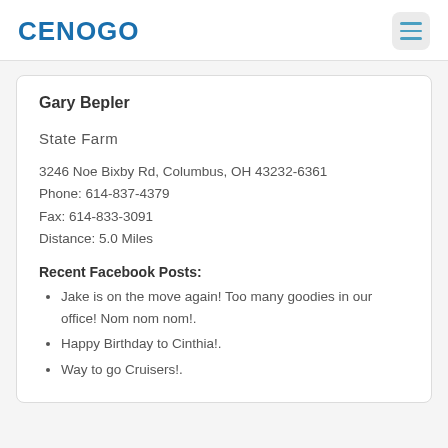CENOGO
Gary Bepler
State Farm
3246 Noe Bixby Rd, Columbus, OH 43232-6361
Phone: 614-837-4379
Fax: 614-833-3091
Distance: 5.0 Miles
Recent Facebook Posts:
Jake is on the move again! Too many goodies in our office! Nom nom nom!.
Happy Birthday to Cinthia!.
Way to go Cruisers!.